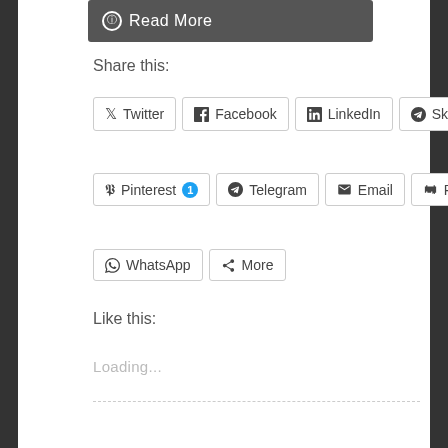[Figure (screenshot): Read More button with circular icon on dark gray background]
Share this:
Twitter
Facebook
LinkedIn
Skype
Pinterest 1
Telegram
Email
Print
WhatsApp
More
Like this:
Loading...